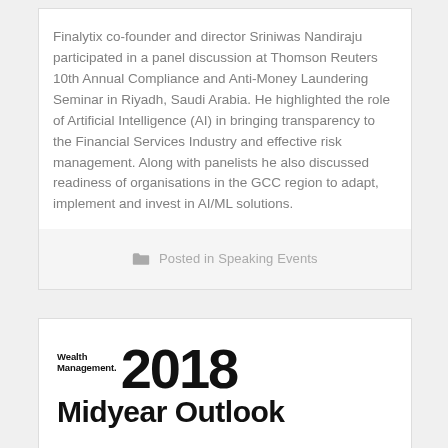Finalytix co-founder and director Sriniwas Nandiraju participated in a panel discussion at Thomson Reuters 10th Annual Compliance and Anti-Money Laundering Seminar in Riyadh, Saudi Arabia. He highlighted the role of Artificial Intelligence (AI) in bringing transparency to the Financial Services Industry and effective risk management. Along with panelists he also discussed readiness of organisations in the GCC region to adapt, implement and invest in AI/ML solutions.
Posted in Speaking Events
[Figure (other): Wealth Management 2018 Midyear Outlook publication cover or banner image showing the title text in large bold font]